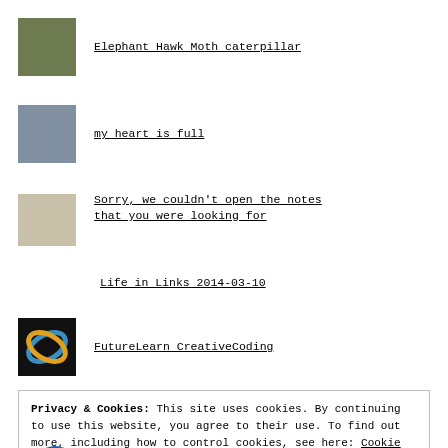Elephant Hawk Moth caterpillar
my heart is full
Sorry, we couldn't open the notes that you were looking for
Life in Links 2014-03-10
FutureLearn CreativeCoding
Privacy & Cookies: This site uses cookies. By continuing to use this website, you agree to their use. To find out more, including how to control cookies, see here: Cookie Policy
Close and accept